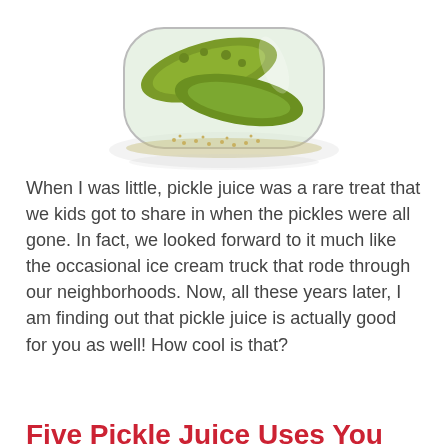[Figure (photo): A glass jar filled with whole pickles and brine with mustard seeds, photographed on a white background with a slight reflection beneath.]
When I was little, pickle juice was a rare treat that we kids got to share in when the pickles were all gone. In fact, we looked forward to it much like the occasional ice cream truck that rode through our neighborhoods. Now, all these years later, I am finding out that pickle juice is actually good for you as well! How cool is that?
Five Pickle Juice Uses You